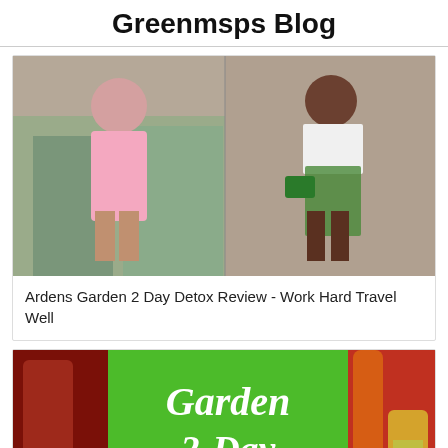Greenmsps Blog
[Figure (photo): Two women posing outdoors, one in a pink dress and one in a floral skirt with white blazer holding a green clutch]
Ardens Garden 2 Day Detox Review - Work Hard Travel Well
[Figure (photo): Blog image showing drinks/juices with green overlay text reading Garden 2-Day Detox and a CLOSE X button overlay at the bottom]